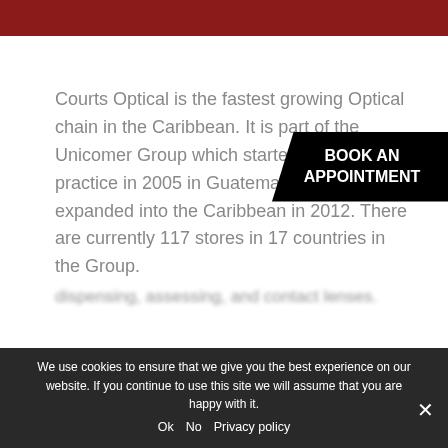Courts Optical is the fastest growing Optical chain in the Caribbean. It is part of the Unicomer Group which started its official practice in 2005 in Guatemala and expanded into the Caribbean in 2012. There are currently 117 stores in 17 countries in the Group.
BOOK AN APPOINTMENT
We use cookies to ensure that we give you the best experience on our website. If you continue to use this site we will assume that you are happy with it.
Ok   No   Privacy policy
dispensing, assessing, and contact lenses.